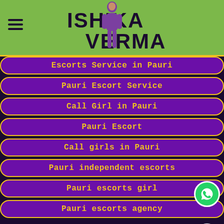ISHIKA VERMA
Escorts Service in Pauri
Pauri Escort Service
Call Girl in Pauri
Pauri Escort
Call girls in Pauri
Pauri independent escorts
Pauri escorts girl
Pauri escorts agency
❤ ❝❝ Experience varieties of escort services available at escorts Service in